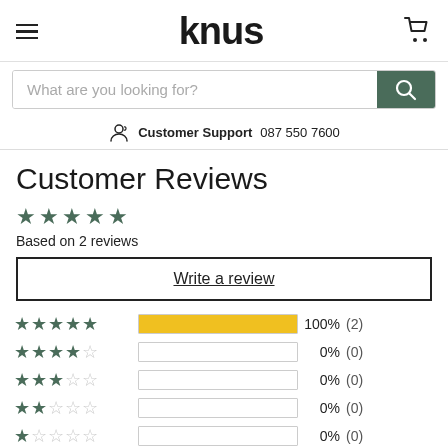knus — Customer Support 087 550 7600
Customer Reviews
4.5 stars — Based on 2 reviews
Write a review
| Stars | Bar | Percentage | Count |
| --- | --- | --- | --- |
| 5 stars | 100% | 100% | (2) |
| 4 stars | 0% | 0% | (0) |
| 3 stars | 0% | 0% | (0) |
| 2 stars | 0% | 0% | (0) |
| 1 star | 0% | 0% | (0) |